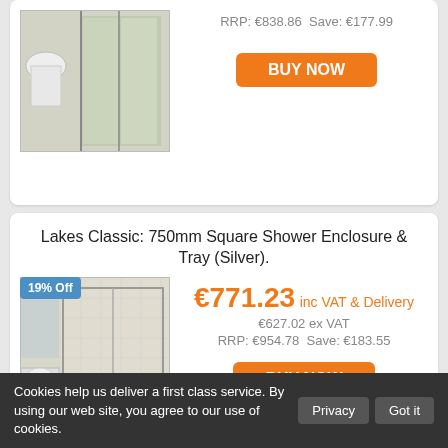[Figure (photo): Bathroom with sliding door enclosure, top portion visible]
RRP: €838.86  Save: €177.99
BUY NOW
Lakes Classic: 750mm Square Shower Enclosure & Tray (Silver).
19% Off
[Figure (photo): 750mm square shower enclosure with tray, silver finish, in a bathroom setting]
€771.23 inc VAT & Delivery
€627.02 ex VAT
RRP: €954.78  Save: €183.55
BUY NOW
Lakes Classic: 800mm Square Shower Enclosure & Tray (Silver).
20% Off
€794.72
Cookies help us deliver a first class service. By using our web site, you agree to our use of cookies.
Privacy
Got it